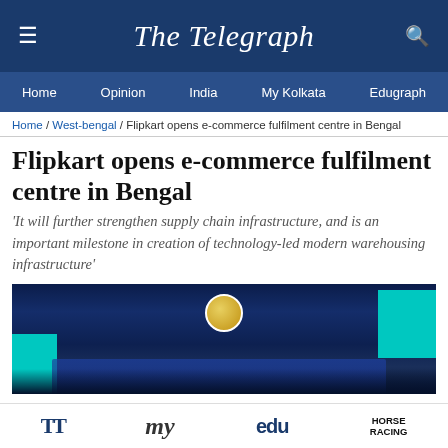The Telegraph
Home / Opinion / India / My Kolkata / Edugraph
Home / West-bengal / Flipkart opens e-commerce fulfilment centre in Bengal
Flipkart opens e-commerce fulfilment centre in Bengal
'It will further strengthen supply chain infrastructure, and is an important milestone in creation of technology-led modern warehousing infrastructure'
[Figure (photo): Dark blue stage with a circular gold logo at top center, teal rectangular panels on left and right sides, photographed at night during what appears to be an event launch ceremony]
TT | my | edu | HORSE RACING